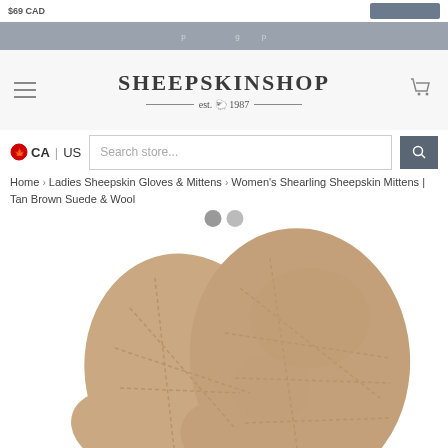$69 CAD
SheepskinShop est. 1987
CA | US  Search store...
Home › Ladies Sheepskin Gloves & Mittens › Women's Shearling Sheepskin Mittens | Tan Brown Suede & Wool
[Figure (photo): Close-up photo of two tan brown suede sheepskin mittens with stitched panels, overlapping each other on a white background.]